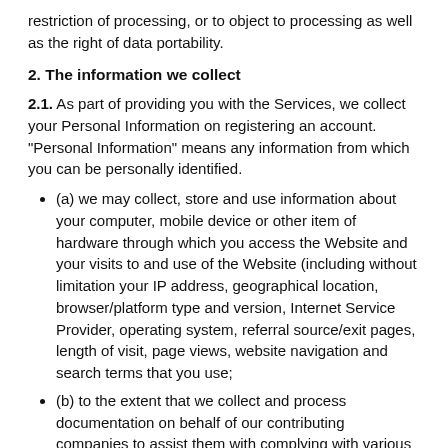restriction of processing, or to object to processing as well as the right of data portability.
2. The information we collect
2.1. As part of providing you with the Services, we collect your Personal Information on registering an account. "Personal Information" means any information from which you can be personally identified.
(a) we may collect, store and use information about your computer, mobile device or other item of hardware through which you access the Website and your visits to and use of the Website (including without limitation your IP address, geographical location, browser/platform type and version, Internet Service Provider, operating system, referral source/exit pages, length of visit, page views, website navigation and search terms that you use;
(b) to the extent that we collect and process documentation on behalf of our contributing companies to assist them with complying with various statutory requirements including without